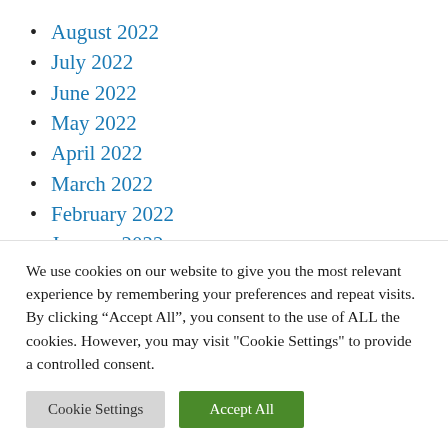August 2022
July 2022
June 2022
May 2022
April 2022
March 2022
February 2022
January 2022
December 2021
We use cookies on our website to give you the most relevant experience by remembering your preferences and repeat visits. By clicking “Accept All”, you consent to the use of ALL the cookies. However, you may visit "Cookie Settings" to provide a controlled consent.
Cookie Settings | Accept All